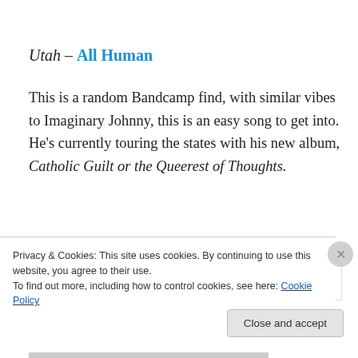Utah – All Human
This is a random Bandcamp find, with similar vibes to Imaginary Johnny, this is an easy song to get into. He's currently touring the states with his new album, Catholic Guilt or the Queerest of Thoughts.
[Figure (screenshot): Bandcamp music widget showing album art thumbnail on the left, track title 'Utah' in pink/magenta, and 'buy' and 'share' action links on the right.]
Privacy & Cookies: This site uses cookies. By continuing to use this website, you agree to their use.
To find out more, including how to control cookies, see here: Cookie Policy
Close and accept